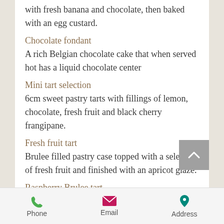with fresh banana and chocolate, then baked with an egg custard.
Chocolate fondant
A rich Belgian chocolate cake that when served hot has a liquid chocolate center
Mini tart selection
6cm sweet pastry tarts with fillings of lemon, chocolate, fresh fruit and black cherry frangipane.
Fresh fruit tart
Brulee filled pastry case topped with a selection of fresh fruit and finished with an apricot glaze.
Raspberry Brulee tart
Phone  Email  Address